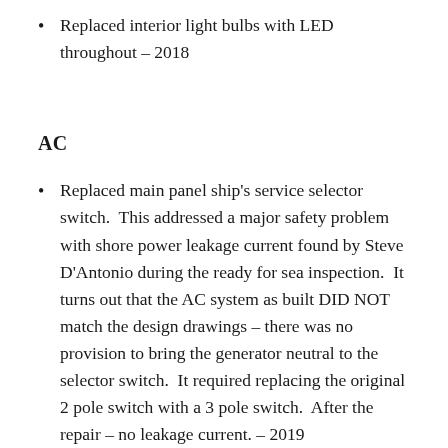Replaced interior light bulbs with LED throughout – 2018
AC
Replaced main panel ship's service selector switch.  This addressed a major safety problem with shore power leakage current found by Steve D’Antonio during the ready for sea inspection.  It turns out that the AC system as built DID NOT match the design drawings – there was no provision to bring the generator neutral to the selector switch.  It required replacing the original 2 pole switch with a 3 pole switch.  After the repair – no leakage current. – 2019